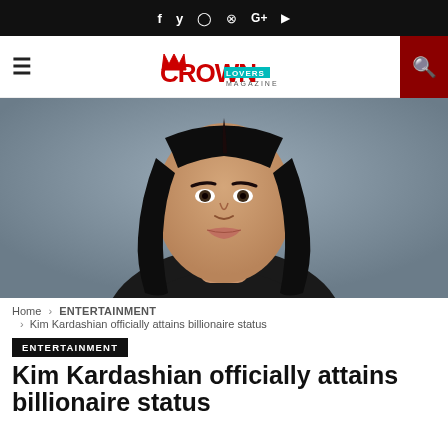f  y  ○  ⊗  G+  ▶
[Figure (logo): CROWN Lovers Magazine logo with red crown text and teal LOVERS badge]
[Figure (photo): Close-up portrait photo of Kim Kardashian with long black hair, wearing a black outfit, against a grey background]
Home > ENTERTAINMENT > Kim Kardashian officially attains billionaire status
ENTERTAINMENT
Kim Kardashian officially attains billionaire status